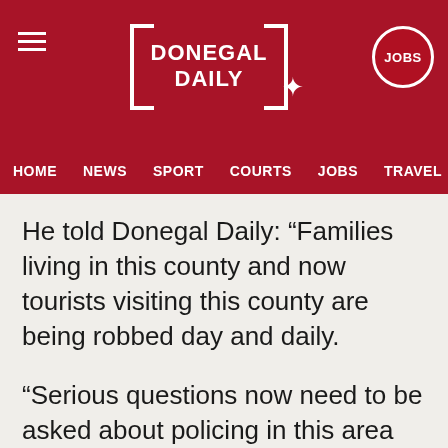DONEGAL DAILY
HOME  NEWS  SPORT  COURTS  JOBS  TRAVEL  FEATU
He told Donegal Daily: “Families living in this county and now tourists visiting this county are being robbed day and daily.
“Serious questions now need to be asked about policing in this area and how resources are being used.
“There have been at least 30 incidents since the start of the year and people have had enough.”